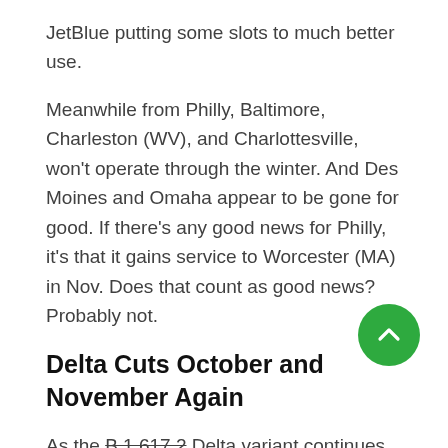JetBlue putting some slots to much better use.
Meanwhile from Philly, Baltimore, Charleston (WV), and Charlottesville, won’t operate through the winter. And Des Moines and Omaha appear to be gone for good. If there’s any good news for Philly, it’s that it gains service to Worcester (MA) in Nov. Does that count as good news? Probably not.
Delta Cuts October and November Again
As the B.1.617.2 Delta variant continues to cause concern, Delta (the airline) is cutting capacity again for October and November with both down just shy of 3 percent. Much of the cutting appears to be spread